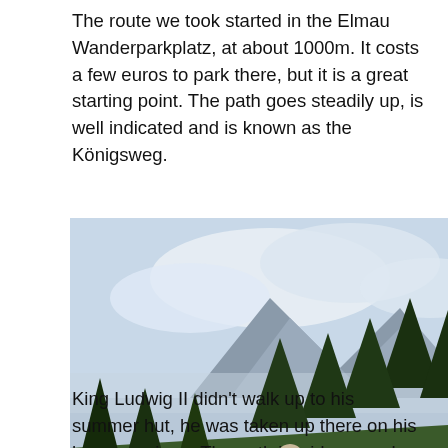The route we took started in the Elmau Wanderparkplatz, at about 1000m. It costs a few euros to park there, but it is a great starting point. The path goes steadily up, is well indicated and is known as the Königsweg.
[Figure (photo): Mountain trail (Königsweg) winding through alpine forest with conifer trees, green hillside slopes, and misty mountain peaks visible in the background under a cloudy sky.]
King Ludwig II didn't walk up to his summer hut, he was taken up there on his horse carriage. The path is wide enough, first going along the